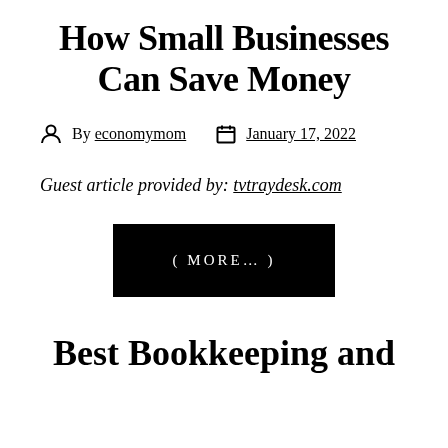How Small Businesses Can Save Money
By economymom  January 17, 2022
Guest article provided by: tvtraydesk.com
[Figure (other): Black button with white text reading ( MORE… )]
Best Bookkeeping and